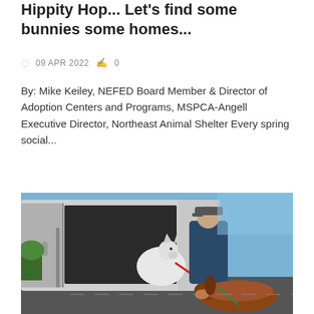Hippity Hop... Let's find some bunnies some homes...
09 APR 2022   0
By: Mike Keiley, NEFED Board Member & Director of Adoption Centers and Programs, MSPCA-Angell Executive Director, Northeast Animal Shelter Every spring social...
Read More
[Figure (photo): A person wearing a baseball cap and blue jacket standing at the open back doors of a white van, holding a red leash attached to a white husky dog, with a brown and white dog in the foreground on a sunny day outdoors.]